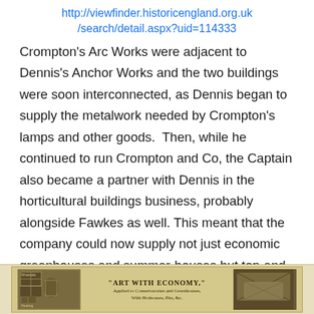http://viewfinder.historicengland.org.uk/search/detail.aspx?uid=114333
Crompton’s Arc Works were adjacent to Dennis’s Anchor Works and the two buildings were soon interconnected, as Dennis began to supply the metalwork needed by Crompton’s lamps and other goods.  Then, while he continued to run Crompton and Co, the Captain also became a partner with Dennis in the horticultural buildings business, probably alongside Fawkes as well. This meant that the company could now supply not just economic greenhouses and summer-houses but top-end constructions too, with state of the art heating systems and electric lighting. It was to do so in style under the motto “Art With Economy”.
[Figure (photo): Vintage advertisement or photograph showing 'ART WITH ECONOMY' text with images of greenhouses and conservatories on a sepia-toned background.]